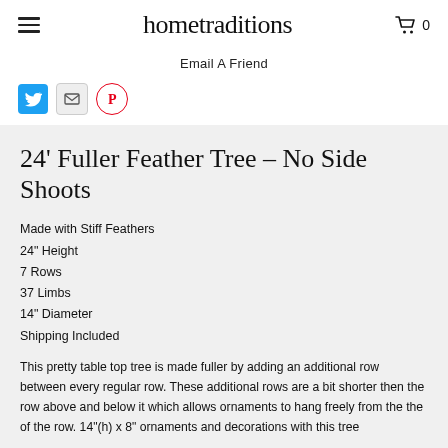hometraditions
Email A Friend
[Figure (infographic): Social sharing icons: Twitter (blue bird), Email (envelope), Pinterest (red P circle)]
24' Fuller Feather Tree – No Side Shoots
Made with Stiff Feathers
24" Height
7 Rows
37 Limbs
14" Diameter
Shipping Included
This pretty table top tree is made fuller by adding an additional row between every regular row. These additional rows are a bit shorter then the row above and below it which allows ornaments to hang freely from the the of the row. 14"(h) x 8" ornaments and decorations with this tree